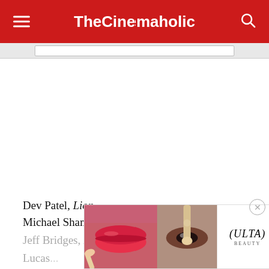TheCinemaholic
Dev Patel, Lion
Michael Shannon, Nocturnal Animals
Jeff Bridges, Hell or High Water
Lucas ...
Mahershala Ali, Moonlight
[Figure (advertisement): Ulta Beauty advertisement banner showing makeup images with 'SHOP NOW' text]